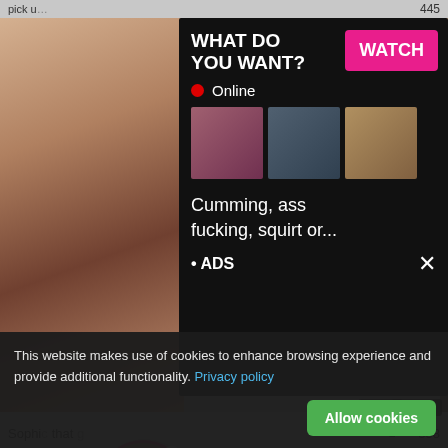pick u...   445
[Figure (screenshot): Adult website screenshot showing video thumbnails and ad overlay popup with text 'WHAT DO YOU WANT?' and WATCH button, Online indicator, thumbnail images, text 'Cumming, ass fucking, squirt or...' and ADS label]
Sophie... that g...   358
[Figure (screenshot): Notification bubble overlay: circular avatar with LIVE badge, pink ADS tag, 'Angel is typing ... (1) unread message' on pink gradient background]
[Figure (screenshot): Two adult video thumbnails in bottom row]
This website makes use of cookies to enhance browsing experience and provide additional functionality. Privacy policy
Allow cookies